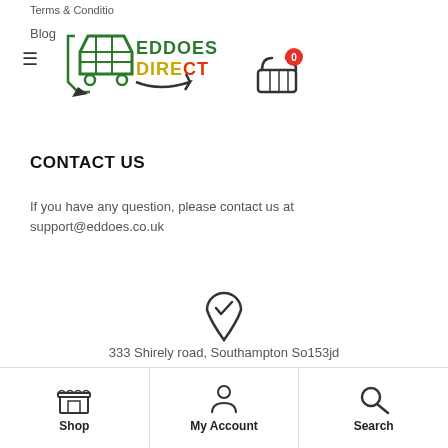Terms & Conditio... | Blog | Eddoes Direct logo with cart showing 0 items
CONTACT US
If you have any question, please contact us at support@eddoes.co.uk
[Figure (illustration): Location pin icon with checkmark]
333 Shirely road, Southampton So153jd
[Figure (illustration): Mobile phone icon]
+123 123 456 789
Shop | My Account | Search